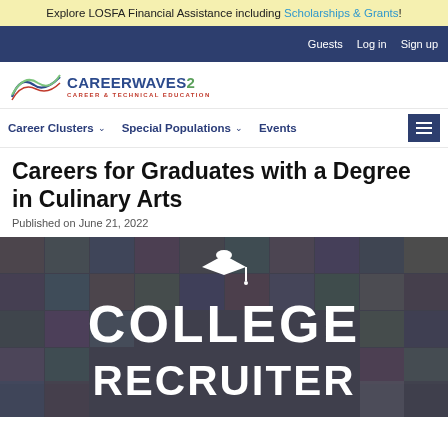Explore LOSFA Financial Assistance including Scholarships & Grants!
Guests  Log in  Sign up
[Figure (logo): CareerWaves2 Career & Technical Education logo with wave graphic]
Career Clusters  Special Populations  Events
Careers for Graduates with a Degree in Culinary Arts
Published on June 21, 2022
[Figure (photo): College Recruiter logo on a dark photo collage background showing many diverse people. Large white bold text reads COLLEGE RECRUITER with a graduation cap icon above.]